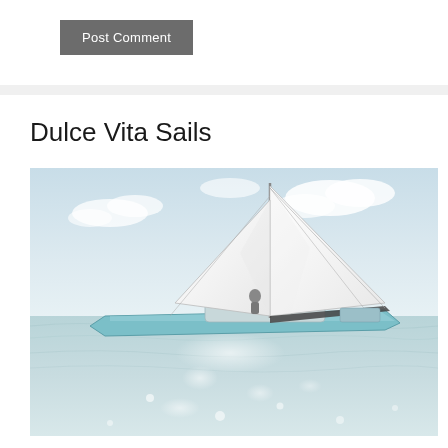Post Comment
Dulce Vita Sails
[Figure (photo): Low-angle photograph of a sailing catamaran with large white sails billowing, taken from water level showing the hull cutting through calm water with a bright hazy sky in the background.]